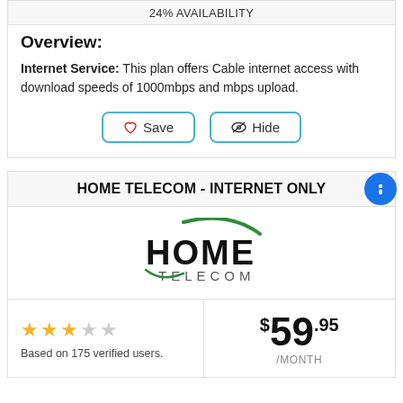24% AVAILABILITY
Overview:
Internet Service: This plan offers Cable internet access with download speeds of 1000mbps and mbps upload.
Save   Hide
HOME TELECOM - INTERNET ONLY
[Figure (logo): Home Telecom logo with green swoosh over the word HOME and TELECOM below]
★★★☆☆ Based on 175 verified users.
$59.95 /MONTH